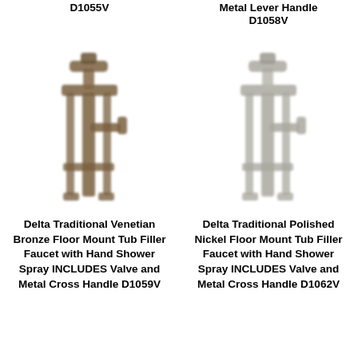D1055V
Metal Lever Handle
D1058V
[Figure (photo): Delta Traditional Venetian Bronze Floor Mount Tub Filler Faucet with Hand Shower Spray - product photo]
[Figure (photo): Delta Traditional Polished Nickel Floor Mount Tub Filler Faucet with Hand Shower Spray - product photo]
Delta Traditional Venetian Bronze Floor Mount Tub Filler Faucet with Hand Shower Spray INCLUDES Valve and Metal Cross Handle D1059V
Delta Traditional Polished Nickel Floor Mount Tub Filler Faucet with Hand Shower Spray INCLUDES Valve and Metal Cross Handle D1062V